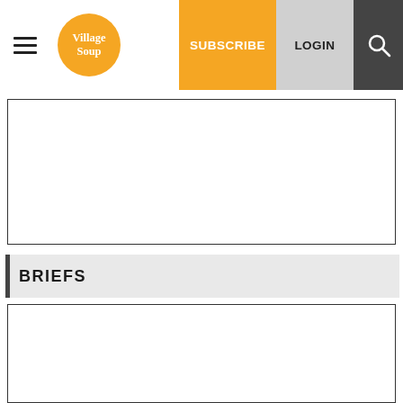Village Soup — SUBSCRIBE | LOGIN
[Figure (other): Empty white content box with border]
BRIEFS
[Figure (other): Empty white content box with border below BRIEFS header]